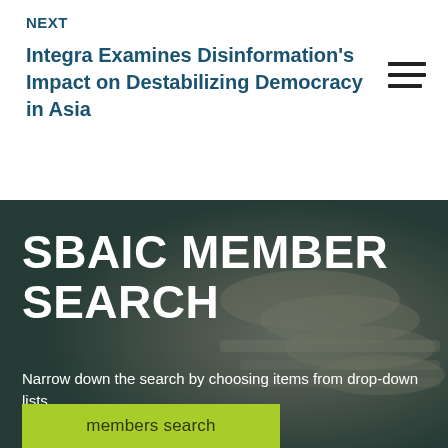NEXT
Integra Examines Disinformation's Impact on Destabilizing Democracy in Asia
SBAIC MEMBER SEARCH
Narrow down the search by choosing items from drop-down lists.
members search